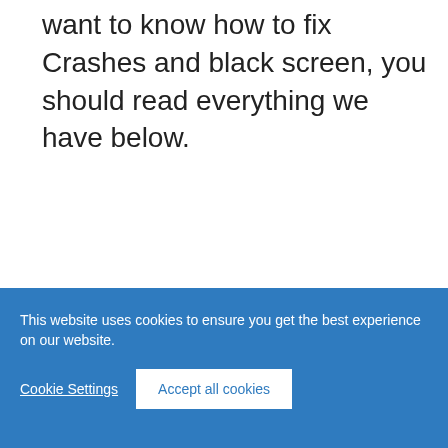want to know how to fix Crashes and black screen, you should read everything we have below.
This website uses cookies to ensure you get the best experience on our website.
Cookie Settings
Accept all cookies